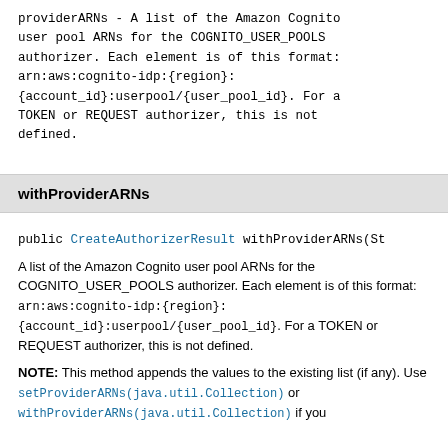providerARNs - A list of the Amazon Cognito user pool ARNs for the COGNITO_USER_POOLS authorizer. Each element is of this format: arn:aws:cognito-idp:{region}:{account_id}:userpool/{user_pool_id}. For a TOKEN or REQUEST authorizer, this is not defined.
withProviderARNs
public CreateAuthorizerResult withProviderARNs(St
A list of the Amazon Cognito user pool ARNs for the COGNITO_USER_POOLS authorizer. Each element is of this format: arn:aws:cognito-idp:{region}:{account_id}:userpool/{user_pool_id}. For a TOKEN or REQUEST authorizer, this is not defined.
NOTE: This method appends the values to the existing list (if any). Use setProviderARNs(java.util.Collection) or withProviderARNs(java.util.Collection) if you